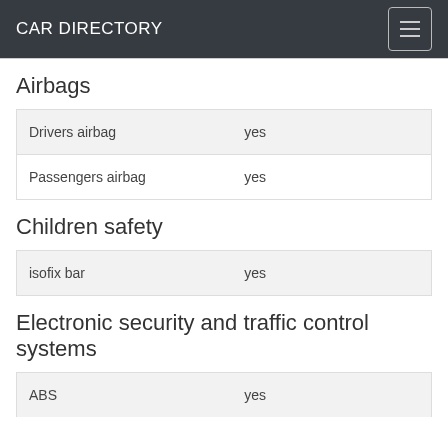CAR DIRECTORY
Airbags
| Drivers airbag | yes |
| Passengers airbag | yes |
Children safety
| isofix bar | yes |
Electronic security and traffic control systems
| ABS | yes |